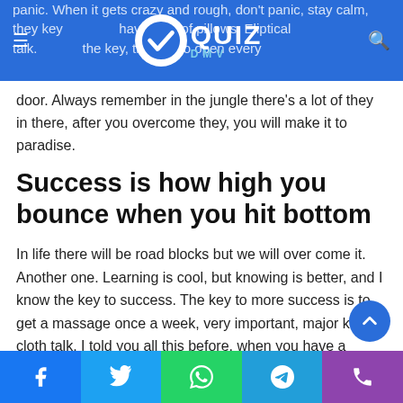Quiz DMV — website header with logo, menu icon, and search icon
panic. When it gets crazy and rough, don't panic, stay calm, they key... have a lot of pillows. Eliptical talk. Always the key, the key to open every door. Always remember in the jungle there's a lot of they in there, after you overcome they, you will make it to paradise.
Success is how high you bounce when you hit bottom
In life there will be road blocks but we will over come it. Another one. Learning is cool, but knowing is better, and I know the key to success. The key to more success is to get a massage once a week, very important, major key, cloth talk. I told you all this before, when you have a swimming pool, do not use chlorine, use salt water, the healing, salt water is the healing. I'm up to something. Life is what you make it, so let
Social share bar: Facebook, Twitter, WhatsApp, Telegram, Phone